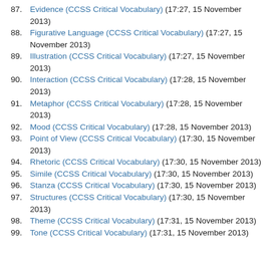87. Evidence (CCSS Critical Vocabulary) (17:27, 15 November 2013)
88. Figurative Language (CCSS Critical Vocabulary) (17:27, 15 November 2013)
89. Illustration (CCSS Critical Vocabulary) (17:27, 15 November 2013)
90. Interaction (CCSS Critical Vocabulary) (17:28, 15 November 2013)
91. Metaphor (CCSS Critical Vocabulary) (17:28, 15 November 2013)
92. Mood (CCSS Critical Vocabulary) (17:28, 15 November 2013)
93. Point of View (CCSS Critical Vocabulary) (17:30, 15 November 2013)
94. Rhetoric (CCSS Critical Vocabulary) (17:30, 15 November 2013)
95. Simile (CCSS Critical Vocabulary) (17:30, 15 November 2013)
96. Stanza (CCSS Critical Vocabulary) (17:30, 15 November 2013)
97. Structures (CCSS Critical Vocabulary) (17:30, 15 November 2013)
98. Theme (CCSS Critical Vocabulary) (17:31, 15 November 2013)
99. Tone (CCSS Critical Vocabulary) (17:31, 15 November 2013)